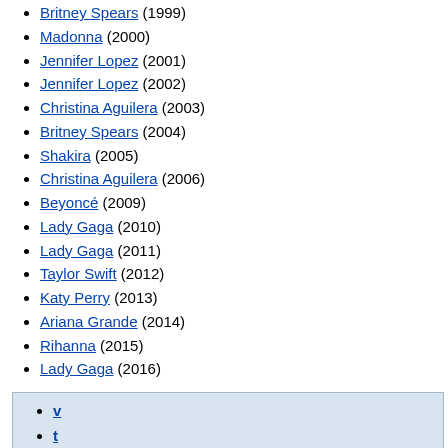Britney Spears (1999)
Madonna (2000)
Jennifer Lopez (2001)
Jennifer Lopez (2002)
Christina Aguilera (2003)
Britney Spears (2004)
Shakira (2005)
Christina Aguilera (2006)
Beyoncé (2009)
Lady Gaga (2010)
Lady Gaga (2011)
Taylor Swift (2012)
Katy Perry (2013)
Ariana Grande (2014)
Rihanna (2015)
Lady Gaga (2016)
v
t
e
MTV Video Music Award for Best New Artist
Eurythmics (1984)